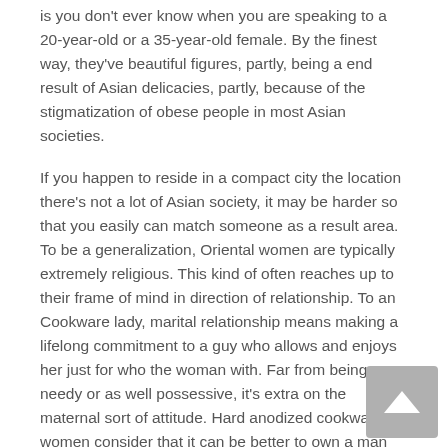is you don't ever know when you are speaking to a 20-year-old or a 35-year-old female. By the finest way, they've beautiful figures, partly, being a end result of Asian delicacies, partly, because of the stigmatization of obese people in most Asian societies.
If you happen to reside in a compact city the location there's not a lot of Asian society, it may be harder so that you easily can match someone as a result area. To be a generalization, Oriental women are typically extremely religious. This kind of often reaches up to their frame of mind in direction of relationship. To an Cookware lady, marital relationship means making a lifelong commitment to a guy who allows and enjoys her just for who the woman with. Far from being needy or as well possessive, it's extra on the maternal sort of attitude. Hard anodized cookware women consider that it can be better to own a man who's dedicated to her than one who contains a surplus of money that allows him to obtain her something which he demands.
If you're excited about horny Asian singles, you will need to creating an account on trustworthy courting sites. These tools have many different suppliers for the main benefit of the customers. Another important issue is one's money investment.